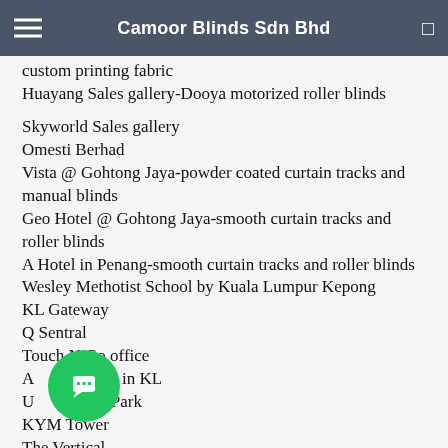Camoor Blinds Sdn Bhd
custom printing fabric
Huayang Sales gallery-Dooya motorized roller blinds
Skyworld Sales gallery
Omesti Berhad
Vista @ Gohtong Jaya-powder coated curtain tracks and manual blinds
Geo Hotel @ Gohtong Jaya-smooth curtain tracks and roller blinds
A Hotel in Penang-smooth curtain tracks and roller blinds
Wesley Methotist School by Kuala Lumpur Kepong
KL Gateway
Q Sentral
Touch N Go office
A University in KL
UOA Business Park
KYM Tower
The Vertical